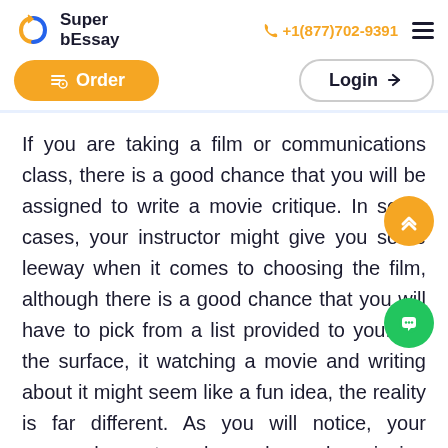Super bEssay | +1(877)702-9391
[Figure (logo): SuperbEssay logo with circular arrow icon]
If you are taking a film or communications class, there is a good chance that you will be assigned to write a movie critique. In some cases, your instructor might give you some leeway when it comes to choosing the film, although there is a good chance that you will have to pick from a list provided to you. On the surface, it watching a movie and writing about it might seem like a fun idea, the reality is far different. As you will notice, your approach must go beyond merely enjoying the movie for its entertainment value. Instead, you will need to focus on the subtleties that the casual viewer